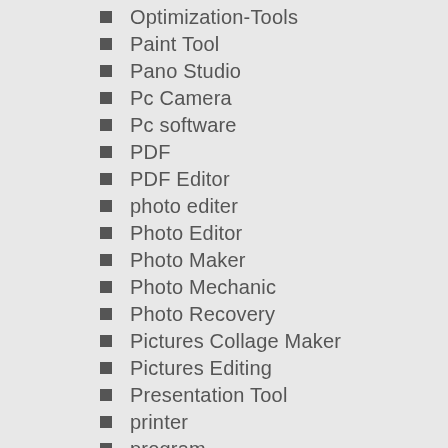Optimization-Tools
Paint Tool
Pano Studio
Pc Camera
Pc software
PDF
PDF Editor
photo editer
Photo Editor
Photo Maker
Photo Mechanic
Photo Recovery
Pictures Collage Maker
Pictures Editing
Presentation Tool
printer
program